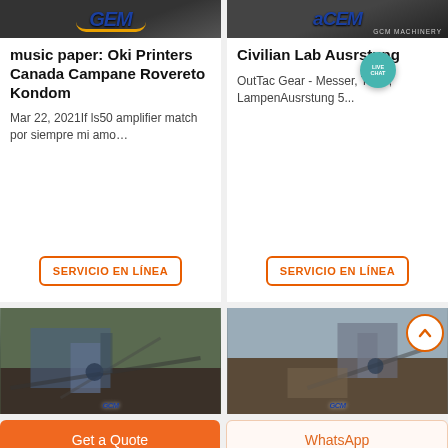[Figure (screenshot): Top-left card with dark machinery/logo image header]
music paper: Oki Printers Canada Campane Rovereto Kondom
Mar 22, 2021If ls50 amplifier match por siempre mi amo…
SERVICIO EN LÍNEA
[Figure (screenshot): Top-right card with dark machinery/GCM logo header with Live Chat bubble]
Civilian Lab Ausrstung
OutTac Gear - Messer, Tools, LampenAusrstung 5...
SERVICIO EN LÍNEA
[Figure (photo): Bottom-left photo of industrial quarry/crushing equipment]
[Figure (photo): Bottom-right photo of industrial quarry/crushing equipment with scroll-up button]
Get a Quote
WhatsApp